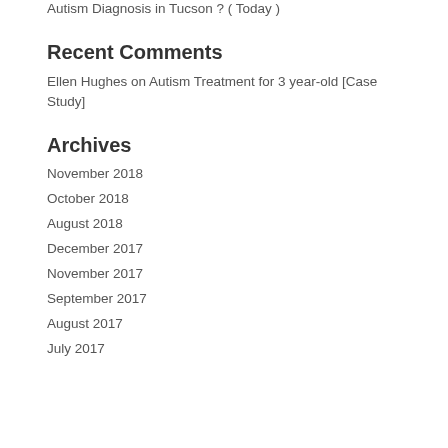Autism Diagnosis in Tucson ? ( Today )
Recent Comments
Ellen Hughes on Autism Treatment for 3 year-old [Case Study]
Archives
November 2018
October 2018
August 2018
December 2017
November 2017
September 2017
August 2017
July 2017